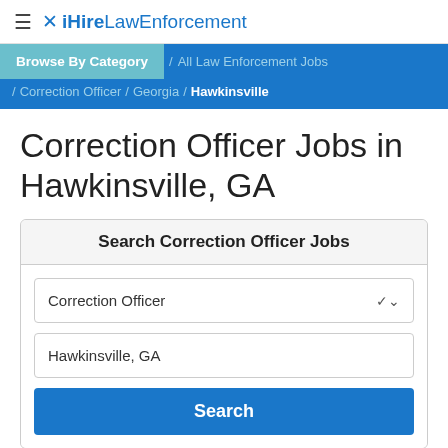≡ ✕ iHireLawEnforcement
Browse By Category / All Law Enforcement Jobs / Correction Officer / Georgia / Hawkinsville
Correction Officer Jobs in Hawkinsville, GA
Search Correction Officer Jobs
Correction Officer
Hawkinsville, GA
Search